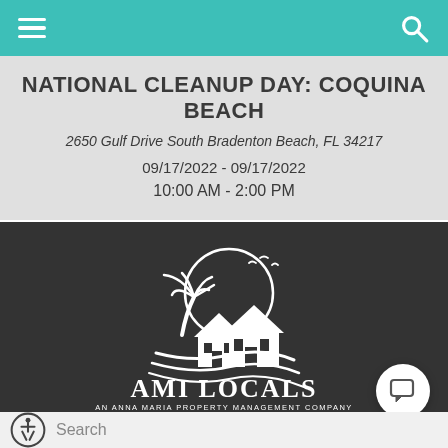Navigation bar with hamburger menu and search icon
NATIONAL CLEANUP DAY: COQUINA BEACH
2650 Gulf Drive South Bradenton Beach, FL 34217
09/17/2022 - 09/17/2022
10:00 AM - 2:00 PM
[Figure (logo): AMI Locals logo — white illustration of beach house with palm tree and sun on dark background, with text AMI LOCALS and AN ANNA MARIA PROPERTY MANAGEMENT COMPANY]
Search bar with accessibility icon